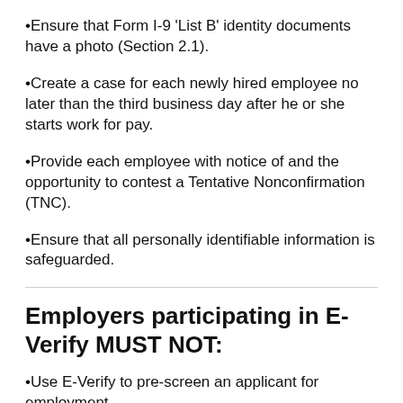•Ensure that Form I-9 'List B' identity documents have a photo (Section 2.1).
•Create a case for each newly hired employee no later than the third business day after he or she starts work for pay.
•Provide each employee with notice of and the opportunity to contest a Tentative Nonconfirmation (TNC).
•Ensure that all personally identifiable information is safeguarded.
Employers participating in E-Verify MUST NOT:
•Use E-Verify to pre-screen an applicant for employment